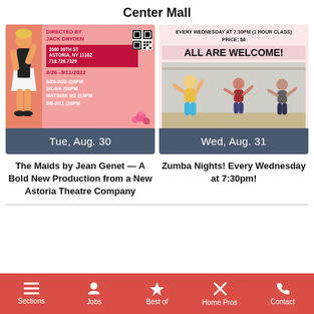Center Mall
[Figure (screenshot): Theater event poster for 'The Maids by Jean Genet' — Directed by Jack Dryden, 2680 30th St Astoria NY 11102, 718.726.7329, 8/26-9/11/2022, performance schedule. Pink background with illustrated dancer figure and flowers. QR code visible.]
Tue, Aug. 30
[Figure (screenshot): Zumba fitness class poster. Pink background. Text: EVERY WEDNESDAY AT 7:30PM (1 HOUR CLASS), PRICE: $8, ALL ARE WELCOME! Photo of people dancing in fitness class.]
Wed, Aug. 31
The Maids by Jean Genet — A Bold New Production from a New Astoria Theatre Company
Zumba Nights! Every Wednesday at 7:30pm!
Sections  Jobs  Best of  Home Pros  Contact